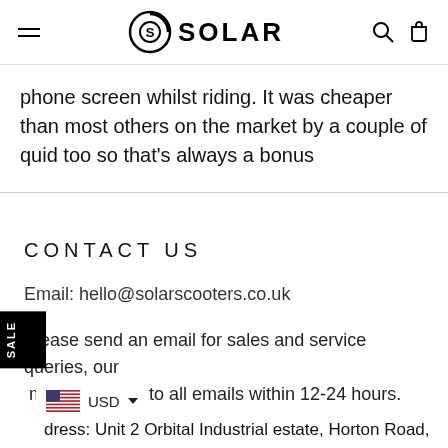SOLAR (logo header with navigation)
phone screen whilst riding. It was cheaper than most others on the market by a couple of quid too so that's always a bonus
CONTACT US
Email: hello@solarscooters.co.uk
Please send an email for sales and service queries, our team will repsond to all emails within 12-24 hours.
Address: Unit 2 Orbital Industrial estate, Horton Road,